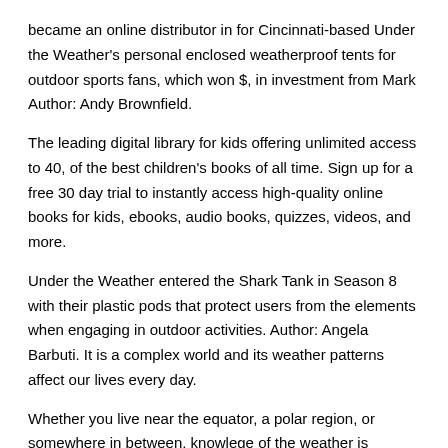became an online distributor in for Cincinnati-based Under the Weather's personal enclosed weatherproof tents for outdoor sports fans, which won $, in investment from Mark Author: Andy Brownfield.
The leading digital library for kids offering unlimited access to 40, of the best children's books of all time. Sign up for a free 30 day trial to instantly access high-quality online books for kids, ebooks, audio books, quizzes, videos, and more.
Under the Weather entered the Shark Tank in Season 8 with their plastic pods that protect users from the elements when engaging in outdoor activities. Author: Angela Barbuti. It is a complex world and its weather patterns affect our lives every day.
Whether you live near the equator, a polar region, or somewhere in between, knowlege of the weather is important. Download the Study Guide (PDF) Download the Answer Key (PDF) See also this study guide (PDF) from Master Books, publisher of The Weather Book.
Find many great new & used options and get the best deals for Under the Weather: Alcohol Abuse and Alcoholism: How to Cope by John C